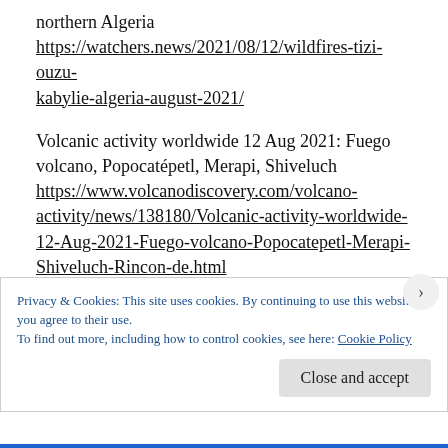northern Algeria https://watchers.news/2021/08/12/wildfires-tizi-ouzu-kabylie-algeria-august-2021/
Volcanic activity worldwide 12 Aug 2021: Fuego volcano, Popocatépetl, Merapi, Shiveluch https://www.volcanodiscovery.com/volcano-activity/news/138180/Volcanic-activity-worldwide-12-Aug-2021-Fuego-volcano-Popocatepetl-Merapi-Shiveluch-Rincon-de.html
Turkey – Floods in Black Sea Region Leave 6 Dead, 1
Privacy & Cookies: This site uses cookies. By continuing to use this website, you agree to their use.
To find out more, including how to control cookies, see here: Cookie Policy
Close and accept